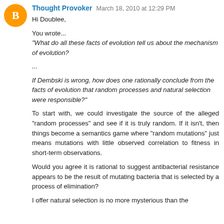[Figure (illustration): Orange circular blogger avatar with white letter B in the center]
Thought Provoker  March 18, 2010 at 12:29 PM
Hi Doublee,
You wrote...
"What do all these facts of evolution tell us about the mechanism of evolution?
...
If Dembski is wrong, how does one rationally conclude from the facts of evolution that random processes and natural selection were responsible?"
To start with, we could investigate the source of the alleged "random processes" and see if it is truly random. If it isn't, then things become a semantics game where "random mutations" just means mutations with little observed correlation to fitness in short-term observations.
Would you agree it is rational to suggest antibacterial resistance appears to be the result of mutating bacteria that is selected by a process of elimination?
I offer natural selection is no more mysterious than the